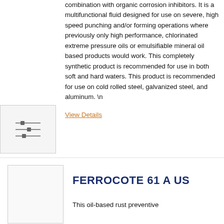combination with organic corrosion inhibitors. It is a multifunctional fluid designed for use on severe, high speed punching and/or forming operations where previously only high performance, chlorinated extreme pressure oils or emulsifiable mineral oil based products would work. This completely synthetic product is recommended for use in both soft and hard waters. This product is recommended for use on cold rolled steel, galvanized steel, and aluminum. \n
View Details
[Figure (illustration): Icon of sliders/filter controls on a light gray background]
FERROCOTE 61 A US
This oil-based rust preventive